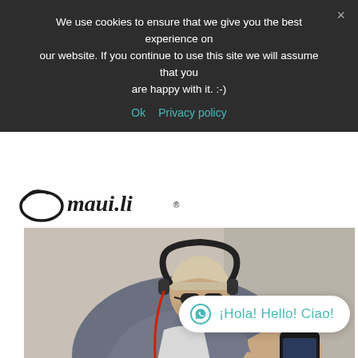We use cookies to ensure that we give you the best experience on our website. If you continue to use this site we will assume that you are happy with it. :-)
Ok   Privacy policy
[Figure (logo): Maui.li brand logo with circular swoosh graphic and cursive-style text]
[Figure (photo): Bearded man wearing a beanie hat and sunglasses, sitting outdoors using a smartphone while wearing headphones with a red cable, dressed in a grey coat]
¡Hola! Hello! Ciao!